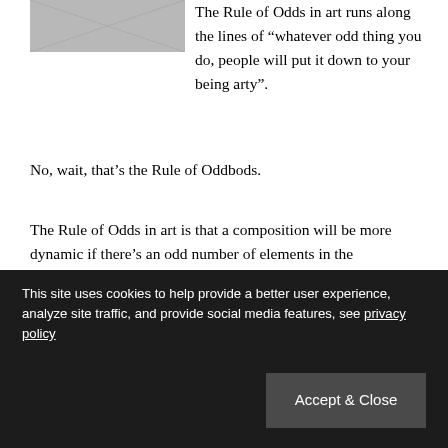[Figure (illustration): Partial image visible at top-left corner, appears to be an artwork or drawing]
The Rule of Odds in art runs along the lines of “whatever odd thing you do, people will put it down to your being arty”.
No, wait, that’s the Rule of Oddbods.
The Rule of Odds in art is that a composition will be more dynamic if there’s an odd number of elements in the composition, say three or seven, rather than an even number, say two or six. The reasoning is that having an odd number means your brain can’t pair them up or group them as easily, that there’s somehow always one thing left over, which keeps your eyes moving across the
This site uses cookies to help provide a better user experience, analyze site traffic, and provide social media features, see privacy policy
Accept & Close